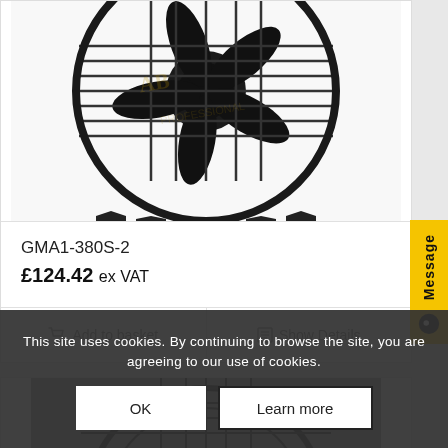[Figure (photo): Product photo of a black industrial axial fan with wire guard/grille, GMA1-380S-2]
GMA1-380S-2
£124.42 ex VAT
Add to basket
Show Details
[Figure (photo): Partial product photo of a second industrial fan with wire grille, partially visible]
This site uses cookies. By continuing to browse the site, you are agreeing to our use of cookies.
OK
Learn more